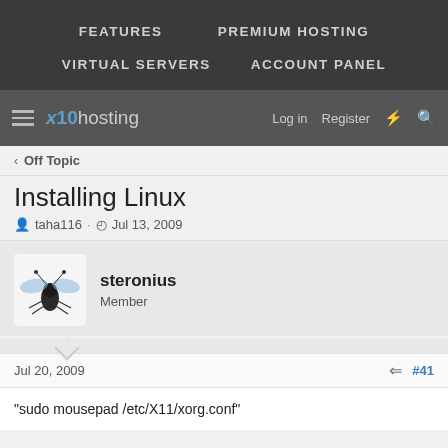FEATURES   PREMIUM HOSTING   VIRTUAL SERVERS   ACCOUNT PANEL
x10hosting  Log in  Register
< Off Topic
Installing Linux
taha116 · Jul 13, 2009
steronius
Member
Jul 20, 2009  #41
"sudo mousepad /etc/X11/xorg.conf"